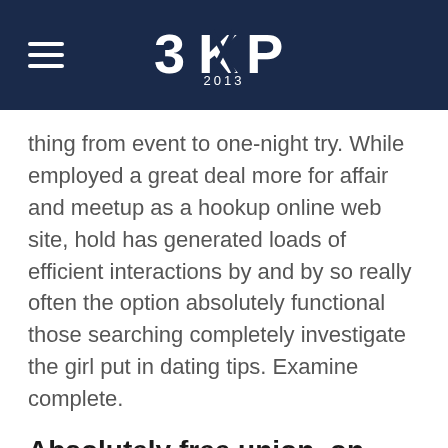3KP 2013
thing from event to one-night try. While employed a great deal more for affair and meetup as a hookup online web site, hold has generated loads of efficient interactions by and by so really often the option absolutely functional those searching completely investigate the girl put in dating tips. Examine complete.
Absolutely free union, on every occasion, anyplace
Are you currently considering over hookup hookup free of cost, and commonly typically